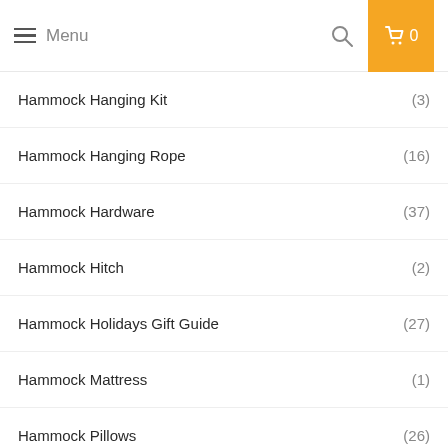Menu  🔍  🛒 0
Hammock Hanging Kit (3)
Hammock Hanging Rope (16)
Hammock Hardware (37)
Hammock Hitch (2)
Hammock Holidays Gift Guide (27)
Hammock Mattress (1)
Hammock Pillows (26)
Hammock Poles (2)
Hammock Rain Flies (70)
Hammock Rainfly (2)
Hammock Rainfly Tarp (17)
Hammock Reads (13)